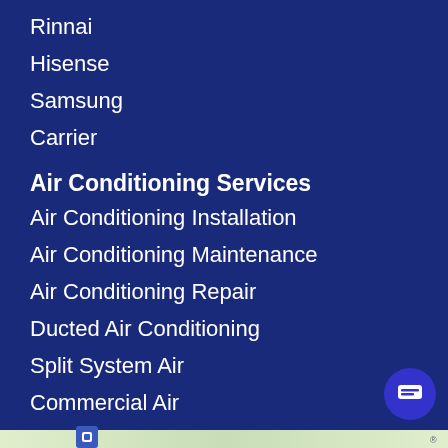Rinnai
Hisense
Samsung
Carrier
Air Conditioning Services
Air Conditioning Installation
Air Conditioning Maintenance
Air Conditioning Repair
Ducted Air Conditioning
Split System Air…
Commercial Air…
Mould And Vira…
Warranty Claim…
Electrical
Smoke Alarm
[Figure (screenshot): Chat widget popup from 'asset' company with logo and message: Hi there, have a question? Text us here. With a close button and chat icon circle.]